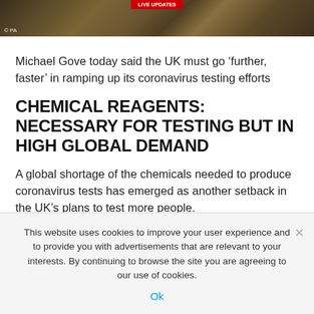[Figure (photo): Photo of Michael Gove at a press conference or meeting room setting, with © PA credit]
Michael Gove today said the UK must go ‘further, faster’ in ramping up its coronavirus testing efforts
CHEMICAL REAGENTS: NECESSARY FOR TESTING BUT IN HIGH GLOBAL DEMAND
A global shortage of the chemicals needed to produce coronavirus tests has emerged as another setback in the UK’s plans to test more people.
Industry bosses say chemical reagents that are used in the test
This website uses cookies to improve your user experience and to provide you with advertisements that are relevant to your interests. By continuing to browse the site you are agreeing to our use of cookies.
Ok